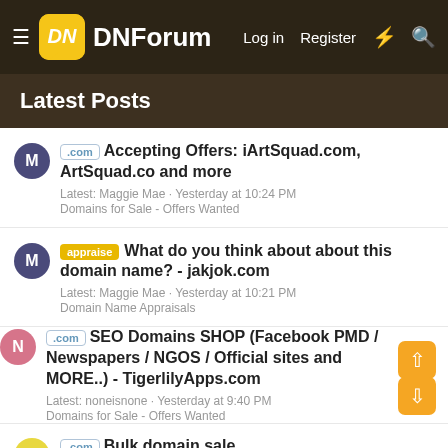DNForum — Log in Register
Latest Posts
.com Accepting Offers: iArtSquad.com, ArtSquad.co and more
Latest: Maggie Mae · Yesterday at 10:24 PM
Domains for Sale - Offers Wanted
appraise What do you think about about this domain name? - jakjok.com
Latest: Maggie Mae · Yesterday at 10:21 PM
Domain Name Appraisals
.com SEO Domains SHOP (Facebook PMD / Newspapers / NGOS / Official sites and MORE..) - TigerlilyApps.com
Latest: noneisnone · Yesterday at 9:40 PM
Domains for Sale - Offers Wanted
.com Bulk domain sale
Latest: Biggie...